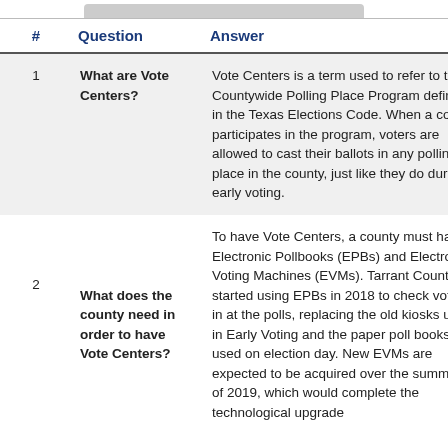| # | Question | Answer |
| --- | --- | --- |
| 1 | What are Vote Centers? | Vote Centers is a term used to refer to the Countywide Polling Place Program defined in the Texas Elections Code. When a county participates in the program, voters are allowed to cast their ballots in any polling place in the county, just like they do during early voting. |
| 2 | What does the county need in order to have Vote Centers? | To have Vote Centers, a county must have Electronic Pollbooks (EPBs) and Electronic Voting Machines (EVMs). Tarrant County started using EPBs in 2018 to check voters in at the polls, replacing the old kiosks used in Early Voting and the paper poll books used on election day. New EVMs are expected to be acquired over the summer of 2019, which would complete the technological upgrade |